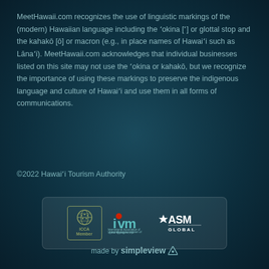MeetHawaii.com recognizes the use of linguistic markings of the (modern) Hawaiian language including the ʻokina [ʻ] or glottal stop and the kahakō [ō] or macron (e.g., in place names of Hawaiʻi such as Lānaʻi). MeetHawaii.com acknowledges that individual businesses listed on this site may not use the ʻokina or kahakō, but we recognize the importance of using these markings to preserve the indigenous language and culture of Hawaiʻi and use them in all forms of communications.
©2022 Hawaiʻi Tourism Authority
[Figure (logo): Three logos in a rounded rectangle box: ICCA Member (green globe icon with ICCA Member text), IAVM (International Association of Venue Managers, Inc.) in teal lettering, and ASM Global logo in white.]
made by simpleview